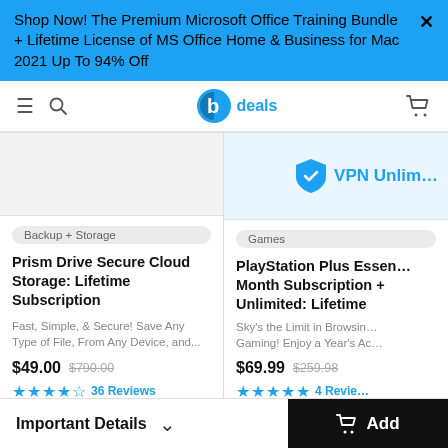Shop Now! The Premium Microsoft Office Training Bundle + Lifetime License of MS Office Home & Business for Mac 2021 Up To 94% Off
[Figure (logo): StackSocial deals logo with blue circle icon and 'deals' text]
[Figure (screenshot): VPN Unlimited shield logo and partial text 'VPN Unlim' on right card image area]
Backup + Storage
Prism Drive Secure Cloud Storage: Lifetime Subscription
Fast, Simple, & Secure! Save Any Type of File, From Any Device, and...
$49.00  $790.00
36 Reviews
Games
PlayStation Plus Essen... Month Subscription + Unlimited: Lifetime
Sky's the Limit in Browsin... Gaming! Enjoy a Year's Ac...
$69.99  $259.98
4 Revie...
Important Details
Add